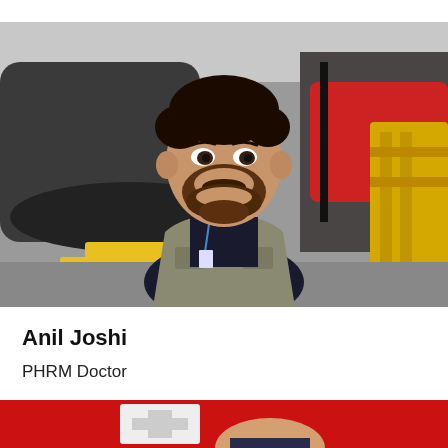[Figure (photo): A smiling man with dark beard wearing a khaki vest over a dark shirt, standing in front of a helicopter in what appears to be a hangar with red and yellow equipment visible]
Anil Joshi
PHRM Doctor
[Figure (photo): Partial view of a person's head/shoulders in front of a red surface with a white cross/logo visible]